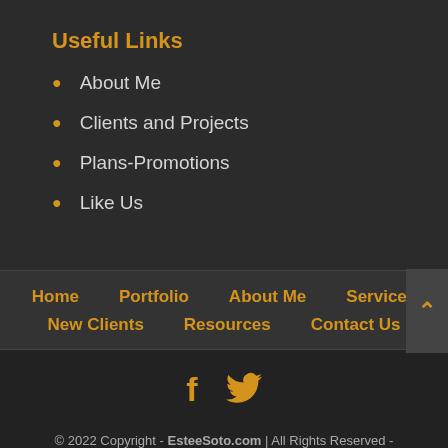Useful Links
About Me
Clients and Projects
Plans-Promotions
Like Us
Home  Portfolio  About Me  Services  New Clients  Resources  Contact Us
© 2022 Copyright - EsteeSoto.com | All Rights Reserved - SotoGregg.com